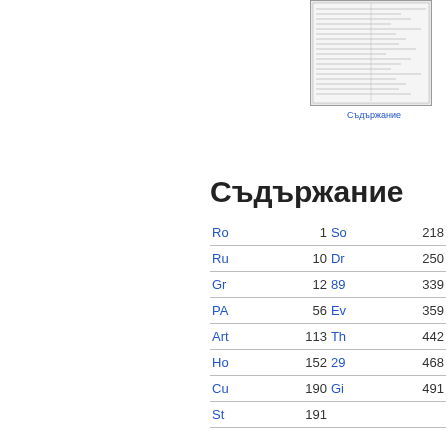[Figure (screenshot): Small thumbnail image of a table of contents document page]
Съдържание
Съдържание
| Entry | Page | Entry | Page |
| --- | --- | --- | --- |
| Ro | 1 | So | 218 |
| Ru | 10 | Dr | 250 |
| Gr | 12 | 89 | 339 |
| PA | 56 | Ev | 359 |
| Art | 113 | Th | 442 |
| Ho | 152 | 29 | 468 |
| Cu | 190 | Gi | 491 |
| St | 191 |  |  |